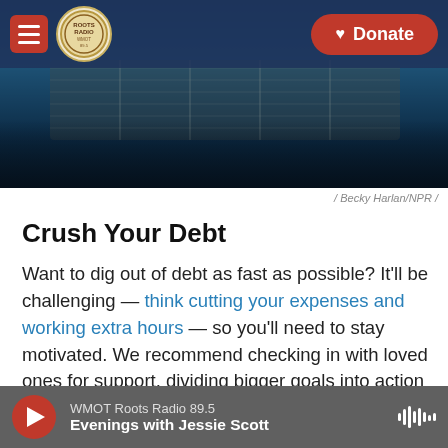WMOT Roots Radio — navigation bar with Donate button
[Figure (photo): Hero image showing a guitar neck/fretboard with a dark blue toned background, partially visible hands playing guitar]
/ Becky Harlan/NPR /
Crush Your Debt
Want to dig out of debt as fast as possible? It'll be challenging — think cutting your expenses and working extra hours — so you'll need to stay motivated. We recommend checking in with loved ones for support, dividing bigger goals into action items and rewarding yourself with small joys. And remember to plan ahead to resist temptations until
WMOT Roots Radio 89.5 — Evenings with Jessie Scott